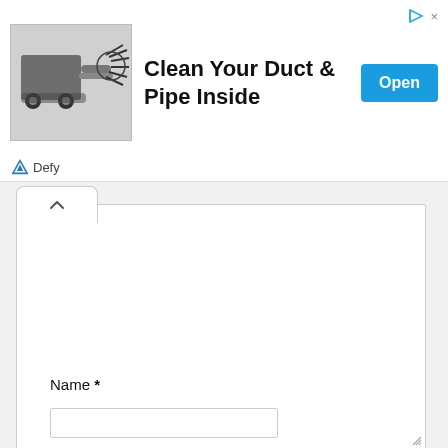[Figure (screenshot): Advertisement banner showing a duct cleaning brush machine image on the left, bold text 'Clean Your Duct & Pipe Inside' in the center, a blue 'Open' button on the right, and 'Defy' brand logo at the bottom left with share/close controls at top right.]
[Figure (screenshot): UI screenshot showing a collapse/toggle tab (chevron up icon) above a large empty white textarea input box with a resize handle at bottom right.]
Name *
[Figure (screenshot): Empty text input field for the 'Name' form field.]